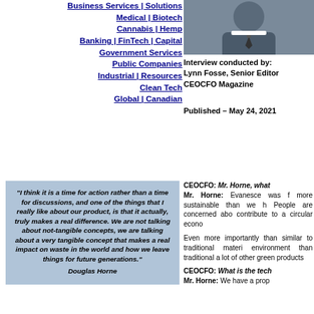Business Services | Solutions
Medical | Biotech
Cannabis | Hemp
Banking | FinTech | Capital
Government Services
Public Companies
Industrial | Resources
Clean Tech
Global | Canadian
[Figure (photo): Portrait photo of a person in a suit]
Interview conducted by: Lynn Fosse, Senior Editor CEOCFO Magazine
Published – May 24, 2021
“I think it is a time for action rather than a time for discussions, and one of the things that I really like about our product, is that it actually, truly makes a real difference. We are not talking about not-tangible concepts, we are talking about a very tangible concept that makes a real impact on waste in the world and how we leave things for future generations.” Douglas Horne
CEOCFO: Mr. Horne, what Mr. Horne: Evanesce was f more sustainable than we h People are concerned abo contribute to a circular econo
Even more importantly than similar to traditional materi environment than traditional a lot of other green products
CEOCFO: What is the tech Mr. Horne: We have a prop